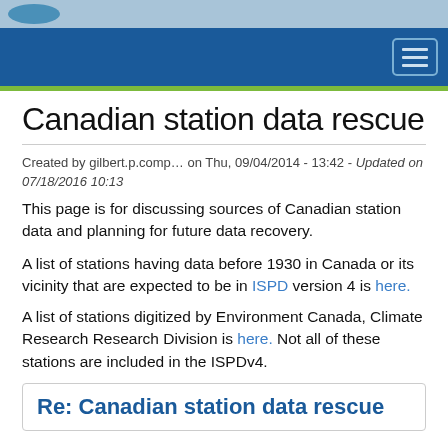[Navigation header with logo and hamburger menu]
Canadian station data rescue
Created by gilbert.p.comp… on Thu, 09/04/2014 - 13:42 - Updated on 07/18/2016 10:13
This page is for discussing sources of Canadian station data and planning for future data recovery.
A list of stations having data before 1930 in Canada or its vicinity that are expected to be in ISPD version 4 is here.
A list of stations digitized by Environment Canada, Climate Research Research Division is here. Not all of these stations are included in the ISPDv4.
Re: Canadian station data rescue